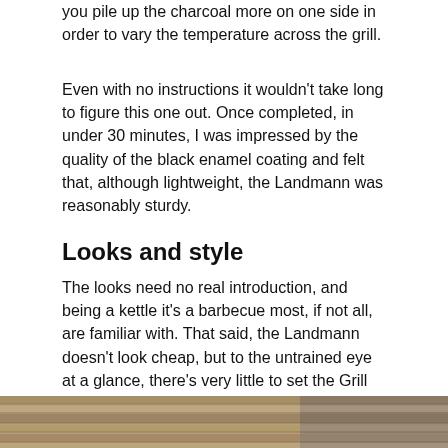you pile up the charcoal more on one side in order to vary the temperature across the grill.
Even with no instructions it wouldn't take long to figure this one out. Once completed, in under 30 minutes, I was impressed by the quality of the black enamel coating and felt that, although lightweight, the Landmann was reasonably sturdy.
Looks and style
The looks need no real introduction, and being a kettle it's a barbecue most, if not all, are familiar with. That said, the Landmann doesn't look cheap, but to the untrained eye at a glance, there's very little to set the Grill Chef Premium aside from the circa £30 offerings available in large supermarkets and DIY stores. Up close, you can see the finish and details are of a high standard, but from afar this barbecue is definitely a case of form follows function.
[Figure (photo): Two side-by-side photos showing wood/barbecue grill surface detail, partially visible at the bottom of the page.]